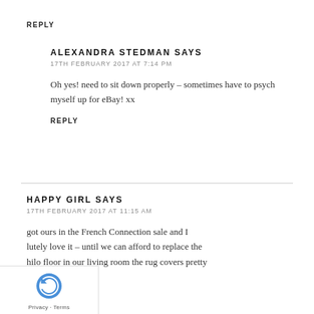REPLY
ALEXANDRA STEDMAN SAYS
17TH FEBRUARY 2017 AT 7:14 PM
Oh yes! need to sit down properly – sometimes have to psych myself up for eBay! xx
REPLY
HAPPY GIRL SAYS
17TH FEBRUARY 2017 AT 11:15 AM
got ours in the French Connection sale and I lutely love it – until we can afford to replace the hilo floor in our living room the rug covers pretty